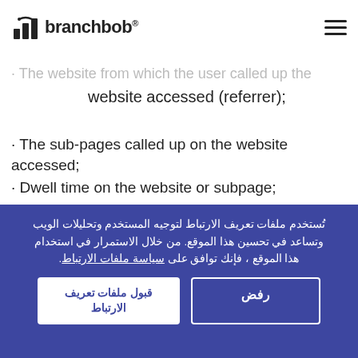branchbob
calling system (anonymized IP address);
· The website accessed;
· The website from which the user called up the website accessed (referrer);
· The sub-pages called up on the website accessed;
· Dwell time on the website or subpage;
· The frequency with which the website is accessed.
According to information provided by the company,
تُستخدم ملفات تعريف الارتباط لتوجيه المستخدم وتحليلات الويب وتساعد في تحسين هذا الموقع. من خلال الاستمرار في استخدام هذا الموقع ، فإنك توافق على سياسة ملفات الارتباط.
قبول ملفات تعريف الارتباط
رفض